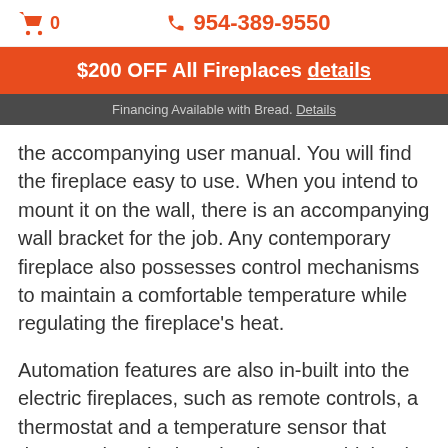🛒 0   📞 954-389-9550
$200 OFF All Fireplaces details
Financing Available with Bread. Details
the accompanying user manual. You will find the fireplace easy to use. When you intend to mount it on the wall, there is an accompanying wall bracket for the job. Any contemporary fireplace also possesses control mechanisms to maintain a comfortable temperature while regulating the fireplace's heat.
Automation features are also in-built into the electric fireplaces, such as remote controls, a thermostat and a temperature sensor that detects when the heat levels are too high. The sensors allow for the